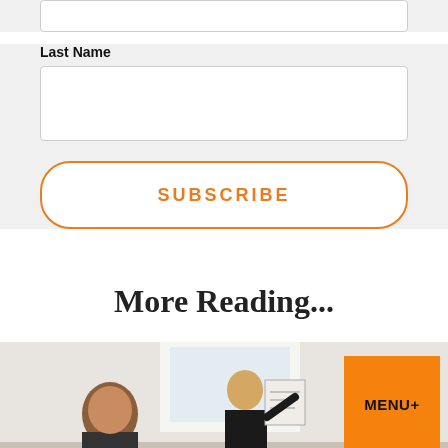[Figure (other): Top portion of a form input box (text field, partially cropped at top of page)]
Last Name
[Figure (other): Last Name text input field (empty, white rectangle with border)]
[Figure (other): SUBSCRIBE button with orange border and orange uppercase text on white background, rounded corners]
More Reading...
[Figure (photo): Photo of people in a classroom or meeting setting; a blonde woman stands presenting/gesturing with papers while others sit and listen. An orange MENU+ badge overlays the top-right corner of the image.]